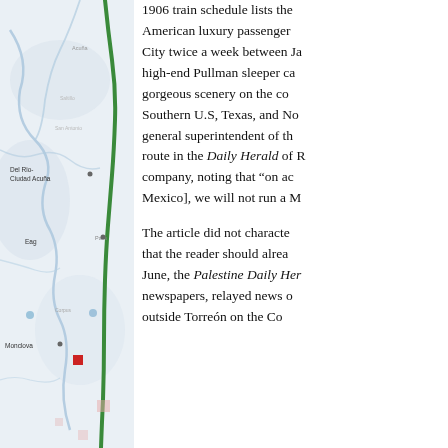[Figure (map): A geographic map showing the border region between Texas and Mexico, with a green route line running north-south. Towns labeled include Del Rio/Ciudad Acuña, Eagle Pass, Monclova, and Corpus Christi area. Rivers and terrain features visible in blue/gray. Red square marker near Monclova.]
1906 train schedule lists the American luxury passenger City twice a week between Ja high-end Pullman sleeper ca gorgeous scenery on the co Southern U.S, Texas, and No general superintendent of th route in the Daily Herald of R company, noting that "on ac Mexico], we will not run a M
The article did not characte that the reader should alrea June, the Palestine Daily Her newspapers, relayed news o outside Torreón on the Co